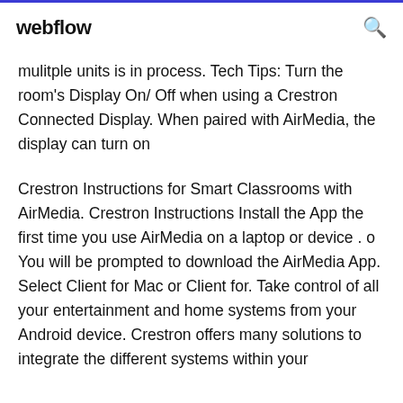webflow
mulitple units is in process. Tech Tips: Turn the room's Display On/ Off when using a Crestron Connected Display. When paired with AirMedia, the display can turn on
Crestron Instructions for Smart Classrooms with AirMedia. Crestron Instructions Install the App the first time you use AirMedia on a laptop or device . o You will be prompted to download the AirMedia App. Select Client for Mac or Client for. Take control of all your entertainment and home systems from your Android device. Crestron offers many solutions to integrate the different systems within your